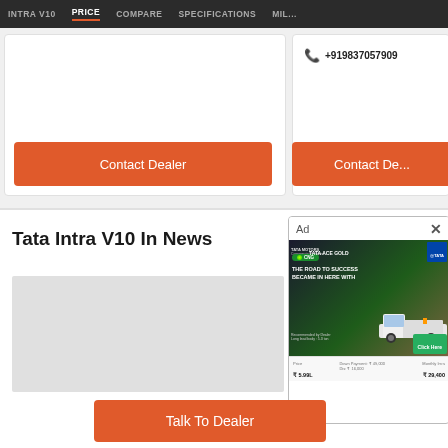INTRA V10 | PRICE | COMPARE | SPECIFICATIONS | MILES
+919837057909
Contact Dealer
Contact De...
Tata Intra V10 In News
[Figure (screenshot): Tata Motors advertisement for Tata Ace Gold CNG truck with pricing details]
[Figure (photo): News article image placeholder (grey box)]
Talk To Dealer